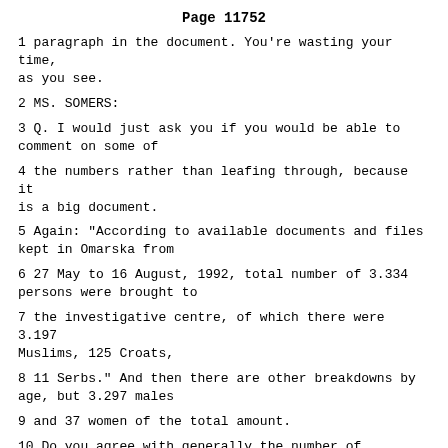Page 11752
1 paragraph in the document. You're wasting your time, as you see.
2 MS. SOMERS:
3 Q. I would just ask you if you would be able to comment on some of
4 the numbers rather than leafing through, because it is a big document.
5 Again: "According to available documents and files kept in Omarska from
6 27 May to 16 August, 1992, total number of 3.334 persons were brought to
7 the investigative centre, of which there were 3.197 Muslims, 125 Croats,
8 11 Serbs." And then there are other breakdowns by age, but 3.297 males
9 and 37 women of the total amount.
10 Do you agree with generally the number of Muslims, 3.197? Would
11 this sound more or less, plus or minus, something that you would agree